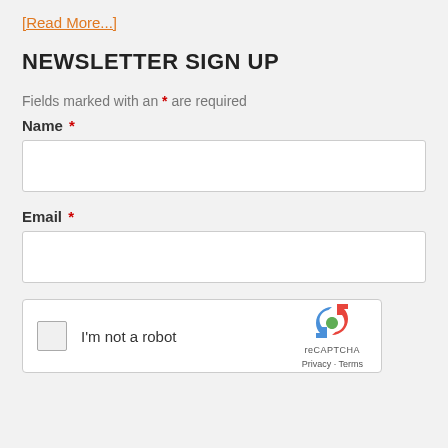[Read More...]
NEWSLETTER SIGN UP
Fields marked with an * are required
Name *
Email *
[Figure (other): reCAPTCHA widget with checkbox labeled 'I'm not a robot' and reCAPTCHA logo with Privacy and Terms links]